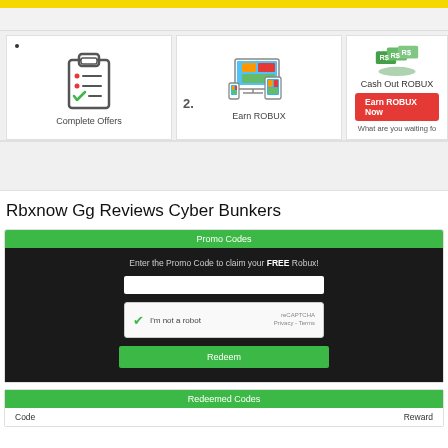[Figure (screenshot): Yellow top bar followed by cards row showing: Card 1 with clipboard/checklist icon and label 'Complete Offers', Card 2 with multi-device monitor icon and label 'Earn ROBUX' with step number '2.', Card 3 partially visible showing cash/robux image, 'Cash Out ROBUX' text, red 'Earn ROBUX Now' button, and 'What are you waiting fo...' text]
Rbxnow Gg Reviews Cyber Bunkers
[Figure (screenshot): Promo Codes section with green header, dark background body containing text 'Enter the Promo Code to claim your FREE Robux!', a white input field, a reCAPTCHA checkbox, and a green Redeem button]
[Figure (screenshot): Redeemed Codes section with green header and two column headers: Code and Reward]